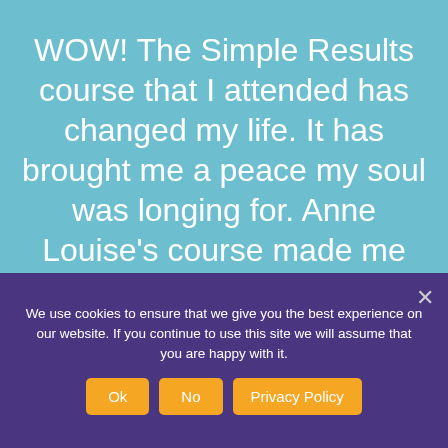WOW! The Simple Results course that I attended has changed my life. It has brought me a peace my soul was longing for. Anne Louise's course made me believe again and now I feel I can start to imagine the life I
We use cookies to ensure that we give you the best experience on our website. If you continue to use this site we will assume that you are happy with it.